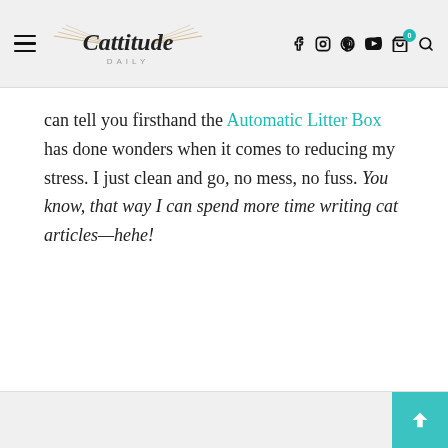Cattitude Daily — site navigation header with logo and icons
can tell you firsthand the Automatic Litter Box has done wonders when it comes to reducing my stress. I just clean and go, no mess, no fuss. You know, that way I can spend more time writing cat articles—hehe!